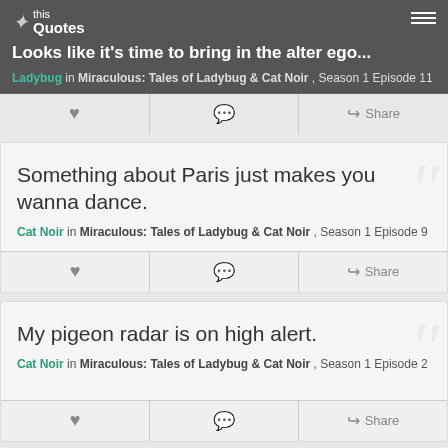Looks like it's time to bring in the alter ego...
Ladybug in Miraculous: Tales of Ladybug & Cat Noir, Season 1 Episode 11
Something about Paris just makes you wanna dance.
Cat Noir in Miraculous: Tales of Ladybug & Cat Noir, Season 1 Episode 9
My pigeon radar is on high alert.
Cat Noir in Miraculous: Tales of Ladybug & Cat Noir, Season 1 Episode 2